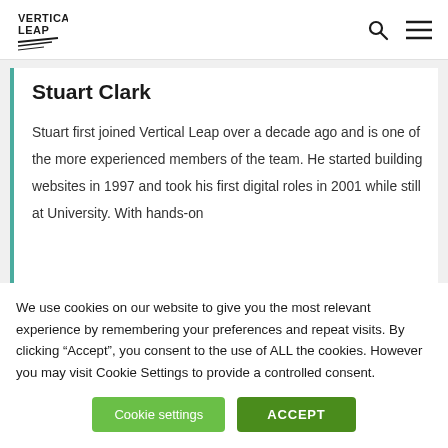Vertical Leap
Stuart Clark
Stuart first joined Vertical Leap over a decade ago and is one of the more experienced members of the team. He started building websites in 1997 and took his first digital roles in 2001 while still at University. With hands-on
We use cookies on our website to give you the most relevant experience by remembering your preferences and repeat visits. By clicking “Accept”, you consent to the use of ALL the cookies. However you may visit Cookie Settings to provide a controlled consent.
Cookie settings
ACCEPT